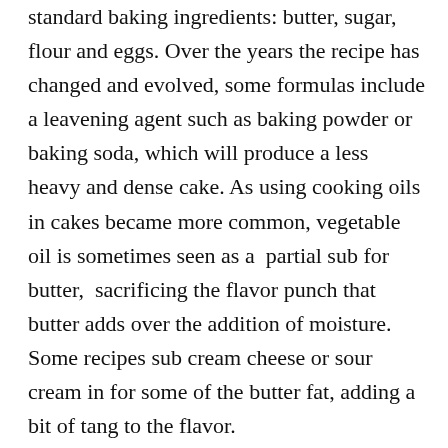standard baking ingredients: butter, sugar, flour and eggs. Over the years the recipe has changed and evolved, some formulas include a leavening agent such as baking powder or baking soda, which will produce a less heavy and dense cake. As using cooking oils in cakes became more common, vegetable oil is sometimes seen as a  partial sub for butter,  sacrificing the flavor punch that butter adds over the addition of moisture. Some recipes sub cream cheese or sour cream in for some of the butter fat, adding a bit of tang to the flavor.
One of the great things about pound cake is that it presents a blank slate as a jumping off point for creative variations, not only in the flavor and texture of the cake but for toppings such as glazes, frostings , simple syrups soaks and ganaches.  It's